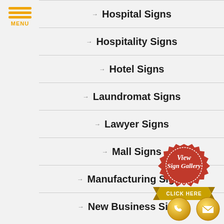[Figure (logo): Hamburger menu icon with three yellow/orange bars and MENU text in gold]
Hospital Signs
Hospitality Signs
Hotel Signs
Laundromat Signs
Lawyer Signs
Mall Signs
Manufacturing Signs
New Business Signs
[Figure (illustration): Red wax seal / badge with white italic text 'View Sign Gallery' and gold ribbon banner reading 'CLICK HERE']
[Figure (illustration): Two gold circular contact icons: phone handset and envelope/email]